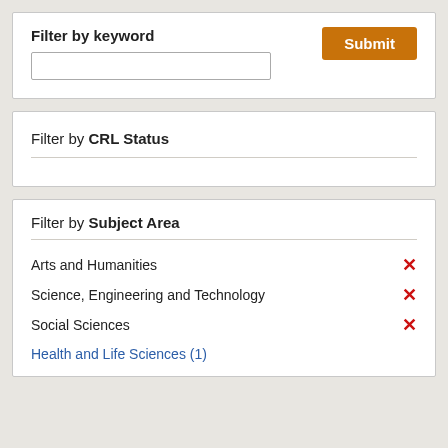Filter by keyword
[Figure (screenshot): Keyword filter input box with Submit button]
Filter by CRL Status
Filter by Subject Area
Arts and Humanities [active filter, remove x]
Science, Engineering and Technology [active filter, remove x]
Social Sciences [active filter, remove x]
Health and Life Sciences (1)